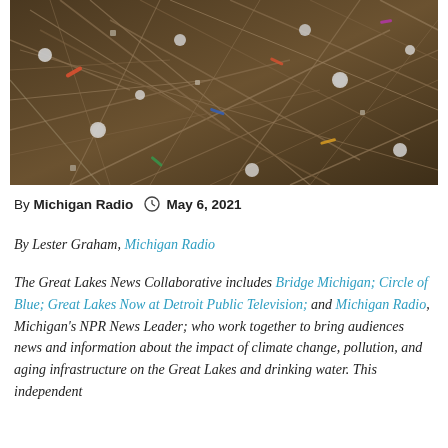[Figure (photo): Close-up photo of debris, litter, and plastic waste scattered among dry grass and twigs on the ground near a body of water.]
By Michigan Radio  🕐  May 6, 2021
By Lester Graham, Michigan Radio
The Great Lakes News Collaborative includes Bridge Michigan; Circle of Blue; Great Lakes Now at Detroit Public Television; and Michigan Radio, Michigan's NPR News Leader; who work together to bring audiences news and information about the impact of climate change, pollution, and aging infrastructure on the Great Lakes and drinking water. This independent